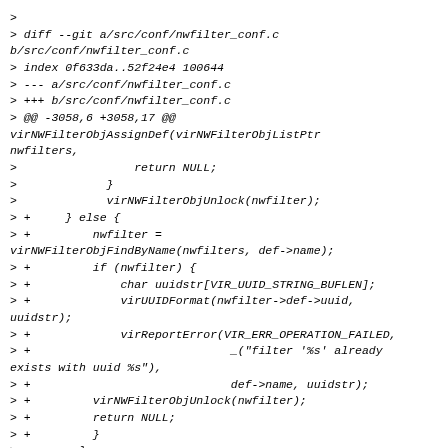> 
> diff --git a/src/conf/nwfilter_conf.c b/src/conf/nwfilter_conf.c
> index 0f633da..52f24e4 100644
> --- a/src/conf/nwfilter_conf.c
> +++ b/src/conf/nwfilter_conf.c
> @@ -3058,6 +3058,17 @@ virNWFilterObjAssignDef(virNWFilterObjListPtr nwfilters,
>                 return NULL;
>             }
>             virNWFilterObjUnlock(nwfilter);
> +     } else {
> +         nwfilter = virNWFilterObjFindByName(nwfilters, def->name);
> +         if (nwfilter) {
> +             char uuidstr[VIR_UUID_STRING_BUFLEN];
> +             virUUIDFormat(nwfilter->def->uuid, uuidstr);
> +             virReportError(VIR_ERR_OPERATION_FAILED,
> +                             _("filter '%s' already exists with uuid %s"),
> +                             def->name, uuidstr);
> +         virNWFilterObjUnlock(nwfilter);
> +         return NULL;
> +         }
>         }
> 
>     if (virNWFilterDefLoopDetect(nwfilters, def) <